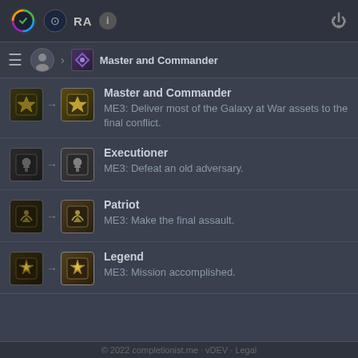RA  i  [power]
Master and Commander
Master and Commander — ME3: Deliver most of the Galaxy at War assets to the final conflict.
Executioner — ME3: Defeat an old adversary.
Patriot — ME3: Make the final assault.
Legend — ME3: Mission accomplished.
© 2022 completionist.me · vDEV · Legal